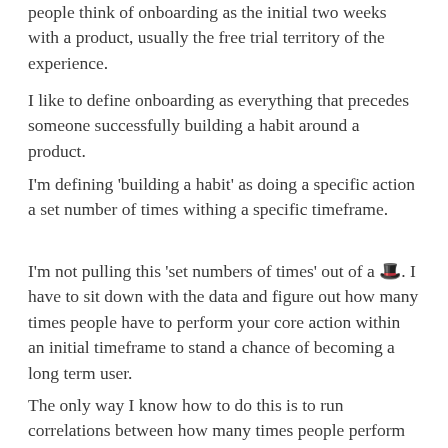people think of onboarding as the initial two weeks with a product, usually the free trial territory of the experience.
I like to define onboarding as everything that precedes someone successfully building a habit around a product.
I'm defining 'building a habit' as doing a specific action a set number of times withing a specific timeframe.
I'm not pulling this 'set numbers of times' out of a 🎩. I have to sit down with the data and figure out how many times people have to perform your core action within an initial timeframe to stand a chance of becoming a long term user.
The only way I know how to do this is to run correlations between how many times people perform an action within different timeframes and how likely they are to continue